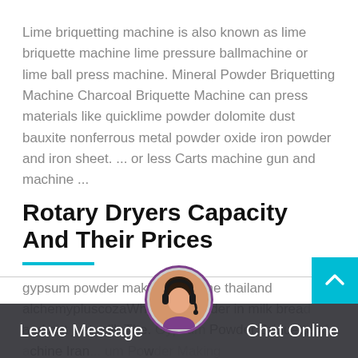Lime briquetting machine is also known as lime briquette machine lime pressure ballmachine or lime ball press machine. Mineral Powder Briquetting Machine Charcoal Briquette Machine can press materials like quicklime powder dolomite dust bauxite nonferrous metal powder oxide iron powder and iron sheet. ... or less Carts machine gun and machine ...
Rotary Dryers Capacity And Their Prices
gypsum powder making machine thailand alchemypluscozaWhy milk powder in milk bread and not just milk The. Gypsum Powder Briquette Machine Iran, Gypsum Powder Making Machine ...